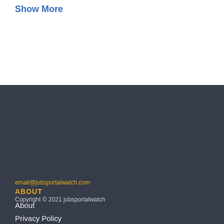Show More
ABOUT
About
Privacy Policy
Terms of Use
[Figure (logo): Career Launch Jobs Found logo — blue rectangle with bold white text CAREER LAUNCH and a gear/chart icon, subtitle JOBS FOUND in italic yellow]
email@jobsportalwatch.com
Copyright © 2021 jobsportalwatch